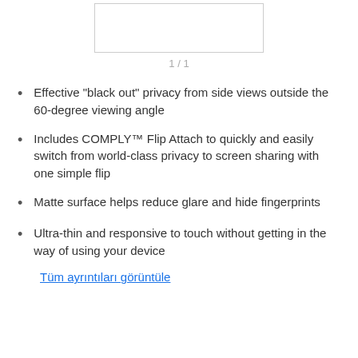[Figure (other): Product image placeholder box]
1 / 1
Effective "black out" privacy from side views outside the 60-degree viewing angle
Includes COMPLY™ Flip Attach to quickly and easily switch from world-class privacy to screen sharing with one simple flip
Matte surface helps reduce glare and hide fingerprints
Ultra-thin and responsive to touch without getting in the way of using your device
Tüm ayrıntıları görüntüle